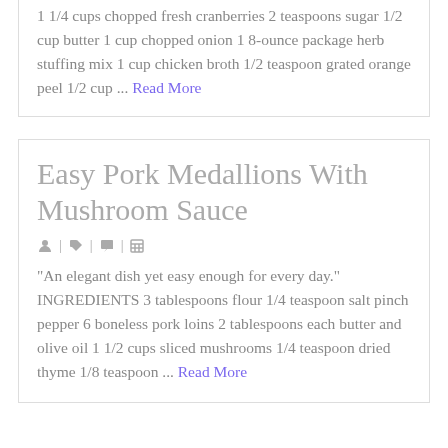1 1/4 cups chopped fresh cranberries 2 teaspoons sugar 1/2 cup butter 1 cup chopped onion 1 8-ounce package herb stuffing mix 1 cup chicken broth 1/2 teaspoon grated orange peel 1/2 cup ... Read More
Easy Pork Medallions With Mushroom Sauce
“An elegant dish yet easy enough for every day.” INGREDIENTS 3 tablespoons flour 1/4 teaspoon salt pinch pepper 6 boneless pork loins 2 tablespoons each butter and olive oil 1 1/2 cups sliced mushrooms 1/4 teaspoon dried thyme 1/8 teaspoon ... Read More